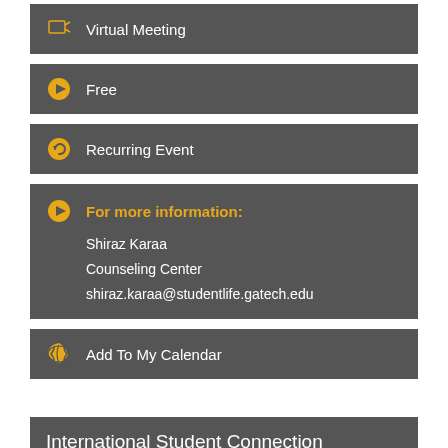Virtual Meeting
Free
Recurring Event
For more information: Shiraz Karaa Counseling Center shiraz.karaa@studentlife.gatech.edu
Add To My Calendar
International Student Connection
Coming to the United States to study can be an exciting adventure and an opportunity for tremendous growth. At the same time, adjusting to new social and academic cultures can pose some challenges. Talking to other International Students to